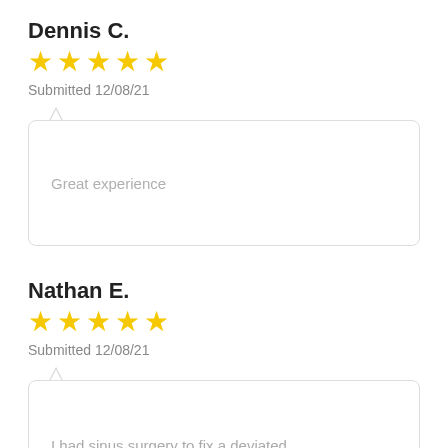Dennis C.
[Figure (other): 5 gold stars rating]
Submitted 12/08/21
Great experience
Nathan E.
[Figure (other): 5 gold stars rating]
Submitted 12/08/21
I had sinus surgery to fix a deviated septum and to open up my sinus